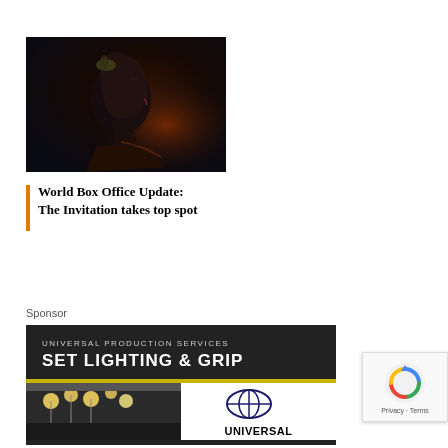[Figure (photo): Dark cinematic photo of a woman with decorative hair ornament, viewed in profile looking upward, against a dark background with warm amber lighting on her neck and shoulder]
World Box Office Update: The Invitation takes top spot
Sponsor
[Figure (illustration): Advertisement for Universal Production Services Set Lighting & Grip, dark background with company name, yellow/olive stripe, and Universal globe logo at bottom]
[Figure (logo): reCAPTCHA privacy badge with blue/grey circular arrows icon, Privacy and Terms text]